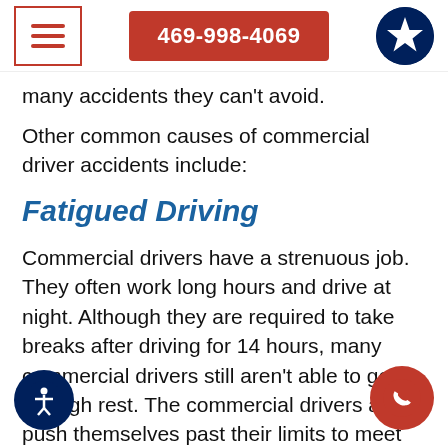469-998-4069
many accidents they can't avoid.
Other common causes of commercial driver accidents include:
Fatigued Driving
Commercial drivers have a strenuous job. They often work long hours and drive at night. Although they are required to take breaks after driving for 14 hours, many commercial drivers still aren't able to get enough re[st]. The commercial drivers also push them[selves past their limits to meet deadlines]